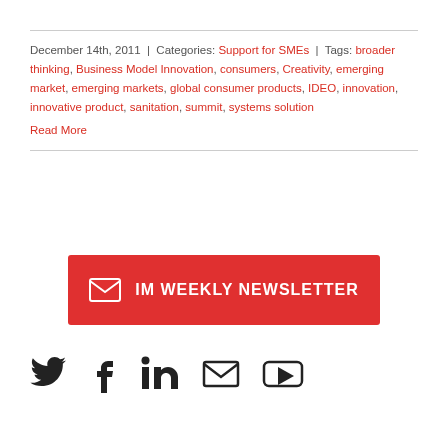December 14th, 2011 | Categories: Support for SMEs | Tags: broader thinking, Business Model Innovation, consumers, Creativity, emerging market, emerging markets, global consumer products, IDEO, innovation, innovative product, sanitation, summit, systems solution
Read More
[Figure (other): Red button with envelope icon and text 'IM WEEKLY NEWSLETTER']
[Figure (other): Social media icons: Twitter, Facebook, LinkedIn, Email, YouTube]